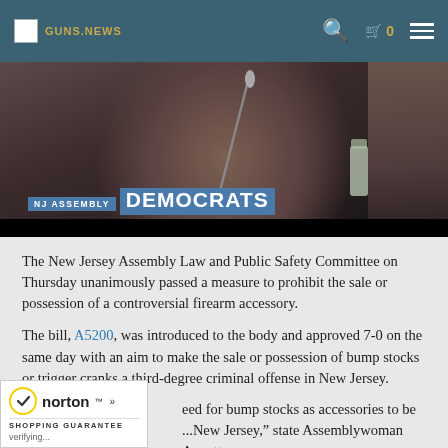GUNS.NEWS | 0
[Figure (screenshot): Video screenshot showing a woman at a hearing with 'NJ ASSEMBLY DEMOCRATS' lower-third graphic overlay]
The New Jersey Assembly Law and Public Safety Committee on Thursday unanimously passed a measure to prohibit the sale or possession of a controversial firearm accessory.
The bill, A5200, was introduced to the body and approved 7-0 on the same day with an aim to make the sale or possession of bump stocks or trigger cranks a third-degree criminal offense in New Jersey.
...eed for bump stocks as accessories to be ...New Jersey," state Assemblywoman Annette
[Figure (logo): Norton Shopping Guarantee badge with checkmark and 'verifying...' text]